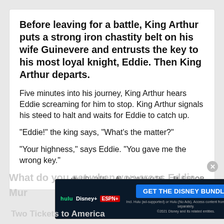Before leaving for a battle, King Arthur puts a strong iron chastity belt on his wife Guinevere and entrusts the key to his most loyal knight, Eddie. Then King Arthur departs.
Five minutes into his journey, King Arthur hears Eddie screaming for him to stop. King Arthur signals his steed to halt and waits for Eddie to catch up.
"Eddie!" the king says, "What's the matter?"
"Your highness," says Eddie. "You gave me the wrong key."
UPVOTE   DOWNVOTE   REPORT
What do you get when you cross Eddie Mur...
Two Tickets to America
[Figure (other): Hulu Disney+ ESPN+ advertisement banner: GET THE DISNEY BUNDLE]